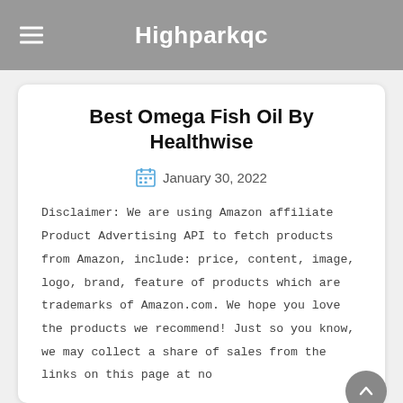Highparkqc
Best Omega Fish Oil By Healthwise
January 30, 2022
Disclaimer: We are using Amazon affiliate Product Advertising API to fetch products from Amazon, include: price, content, image, logo, brand, feature of products which are trademarks of Amazon.com. We hope you love the products we recommend! Just so you know, we may collect a share of sales from the links on this page at no